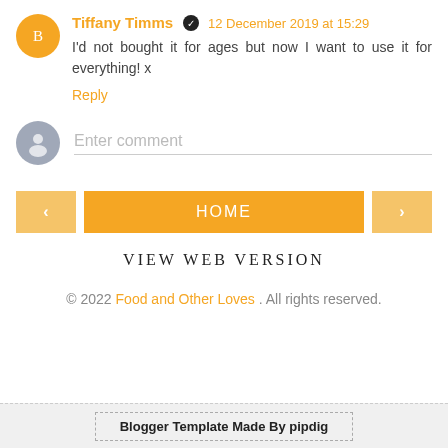Tiffany Timms ✓ 12 December 2019 at 15:29 — I'd not bought it for ages but now I want to use it for everything! x
Reply
Enter comment
HOME
VIEW WEB VERSION
© 2022 Food and Other Loves . All rights reserved.
Blogger Template Made By pipdig